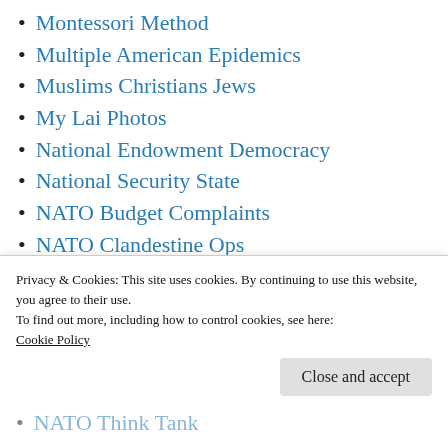Montessori Method
Multiple American Epidemics
Muslims Christians Jews
My Lai Photos
National Endowment Democracy
National Security State
NATO Budget Complaints
NATO Clandestine Ops
NATO Controls Europe
NATO Operation Gladio
NATO Protection Racket
Privacy & Cookies: This site uses cookies. By continuing to use this website, you agree to their use.
To find out more, including how to control cookies, see here:
Cookie Policy
NATO Think Tank